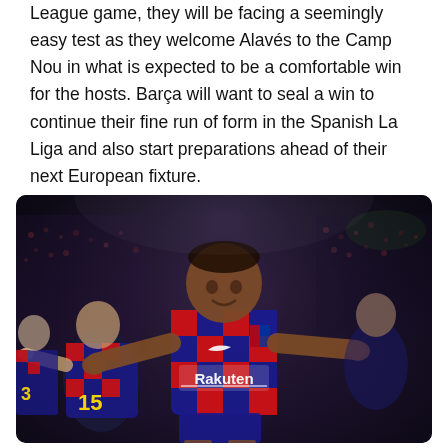League game, they will be facing a seemingly easy test as they welcome Alavés to the Camp Nou in what is expected to be a comfortable win for the hosts. Barça will want to seal a win to continue their fine run of form in the Spanish La Liga and also start preparations ahead of their next European fixture.
[Figure (photo): A FC Barcelona player (wearing blue and red checkered Rakuten-sponsored jersey, number 11 area) celebrating with arms outstretched at Camp Nou stadium, with teammates including a player wearing number 15 visible in the background. Night match, crowd blurred in background.]